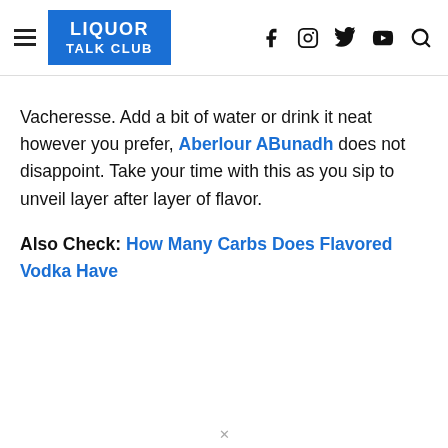LIQUOR TALK CLUB
Vacheresse. Add a bit of water or drink it neat however you prefer, Aberlour ABunadh does not disappoint. Take your time with this as you sip to unveil layer after layer of flavor.
Also Check: How Many Carbs Does Flavored Vodka Have